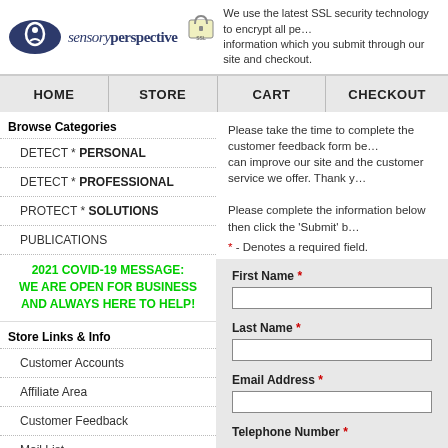[Figure (logo): Sensory Perspective oval logo with white figure on dark blue background, and 'sensoryperspective' text below]
We use the latest SSL security technology to encrypt all personal information which you submit through our site and checkout.
HOME | STORE | CART | CHECKOUT
Browse Categories
DETECT * PERSONAL
DETECT * PROFESSIONAL
PROTECT * SOLUTIONS
PUBLICATIONS
2021 COVID-19 MESSAGE: WE ARE OPEN FOR BUSINESS AND ALWAYS HERE TO HELP!
Store Links & Info
Customer Accounts
Affiliate Area
Customer Feedback
Mail List
Store Policies
Terms of Use
Privacy Policy
Please take the time to complete the customer feedback form below so we can improve our site and the customer service we offer. Thank you.
Please complete the information below then click the 'Submit' button.
* - Denotes a required field.
First Name *
Last Name *
Email Address *
Telephone Number *